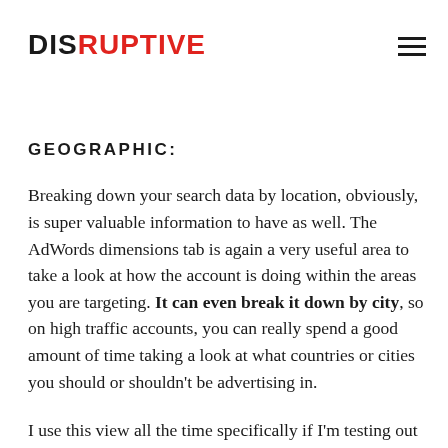DISRUPTIVE
GEOGRAPHIC:
Breaking down your search data by location, obviously, is super valuable information to have as well. The AdWords dimensions tab is again a very useful area to take a look at how the account is doing within the areas you are targeting. It can even break it down by city, so on high traffic accounts, you can really spend a good amount of time taking a look at what countries or cities you should or shouldn't be advertising in.
I use this view all the time specifically if I'm testing out a